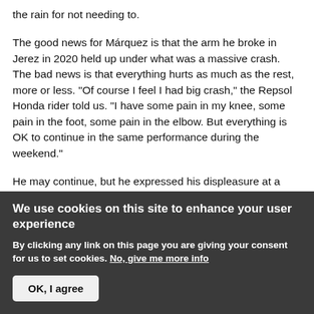the rain for not needing to.

The good news for Márquez is that the arm he broke in Jerez in 2020 held up under what was a massive crash. The bad news is that everything hurts as much as the rest, more or less. "Of course I feel I had big crash," the Repsol Honda rider told us. "I have some pain in my knee, some pain in the foot, some pain in the elbow. But everything is OK to continue in the same performance during the weekend."

He may continue, but he expressed his displeasure at a crash like this happening. He did not believe he bore
We use cookies on this site to enhance your user experience
By clicking any link on this page you are giving your consent for us to set cookies. No, give me more info
OK, I agree